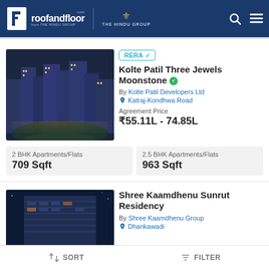roofandfloor.com | THE HINDU GROUP
RERA ✓
Kolte Patil Three Jewels Moonstone
By Kolte Patil Developers Ltd
Katraj-Kondhwa Road
Agreement Price ₹55.11L - 74.85L
2 BHK Apartments/Flats
709 Sqft
2.5 BHK Apartments/Flats
963 Sqft
Shree Kaamdhenu Sunrut Residency
By Shree Kaamdhenu Group
Dhankawadi
SORT   FILTER